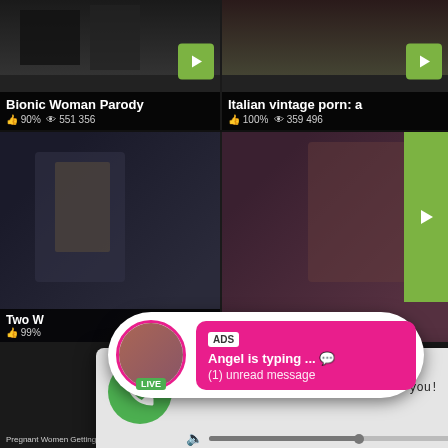[Figure (screenshot): Video thumbnail card: Bionic Woman Parody, 90% likes, 551 356 views]
[Figure (screenshot): Video thumbnail card: Italian vintage porn: a, 100% likes, 359 496 views]
[Figure (screenshot): Mid video thumbnail: Two W... 99% likes]
[Figure (screenshot): Mid video thumbnail (right side)]
[Figure (screenshot): Audio ad popup notification: (1)Missed Call from Eliza - pleeease call me back.. I miss you! with audio player controls, time 0:00 / 3:23]
[Figure (screenshot): Chat ad popup: Angel is typing ... with LIVE badge avatar, (1) unread message]
FiltFat.com
Pregnant Women Getting
Cheeoy Loin & Tom Duron...